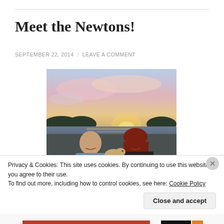Meet the Newtons!
SEPTEMBER 22, 2014 / LEAVE A COMMENT
[Figure (photo): A couple and their small dog posing for a selfie outdoors near a lake at sunset, with pink and golden clouds in the sky and a treeline in the background.]
Privacy & Cookies: This site uses cookies. By continuing to use this website, you agree to their use.
To find out more, including how to control cookies, see here: Cookie Policy
Close and accept